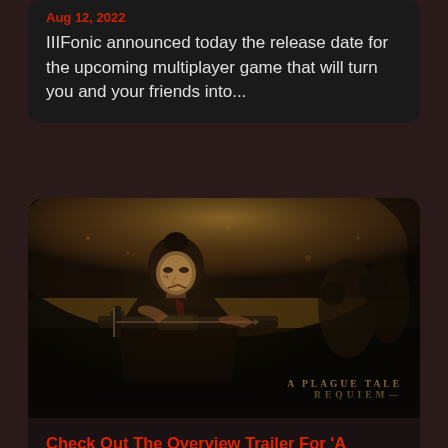Aug 12, 2022
IIIFonic announced today the release date for the upcoming multiplayer game that will turn you and your friends into...
[Figure (photo): A Plague Tale: Requiem promotional image showing a woman holding a crossbow in a dark atmospheric scene with golden light. Logo text reads 'A PLAGUE TALE REQUIEM' in bottom right corner.]
Check Out The Overview Trailer For 'A Plague Tale: Requiem'